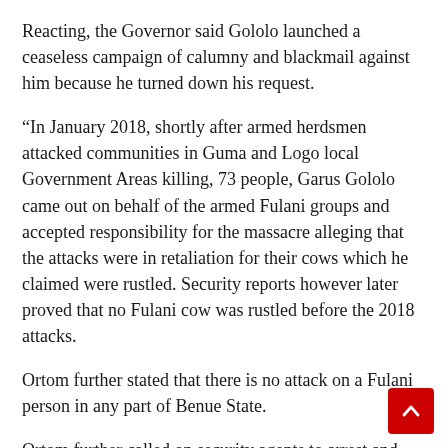Reacting, the Governor said Gololo launched a ceaseless campaign of calumny and blackmail against him because he turned down his request.
“In January 2018, shortly after armed herdsmen attacked communities in Guma and Logo local Government Areas killing, 73 people, Garus Gololo came out on behalf of the armed Fulani groups and accepted responsibility for the massacre alleging that the attacks were in retaliation for their cows which he claimed were rustled. Security reports however later proved that no Fulani cow was rustled before the 2018 attacks.
Ortom further stated that there is no attack on a Fulani person in any part of Benue State.
Ortom further called on security agents to arrest and prosecute Gigolo said all law-abiding Fulanis are living peace with other Benue people.